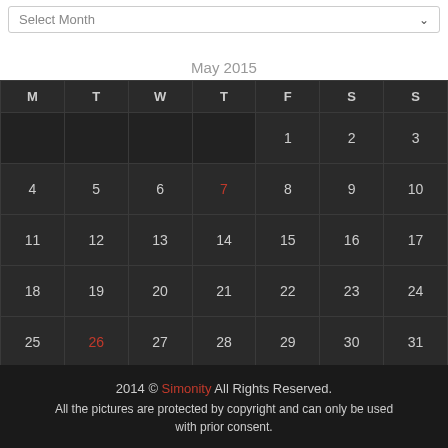Select Month
May 2015
| M | T | W | T | F | S | S |
| --- | --- | --- | --- | --- | --- | --- |
|  |  |  |  | 1 | 2 | 3 |
| 4 | 5 | 6 | 7 | 8 | 9 | 10 |
| 11 | 12 | 13 | 14 | 15 | 16 | 17 |
| 18 | 19 | 20 | 21 | 22 | 23 | 24 |
| 25 | 26 | 27 | 28 | 29 | 30 | 31 |
« Apr    Jun »
2014 © Simonity All Rights Reserved. All the pictures are protected by copyright and can only be used with prior consent.